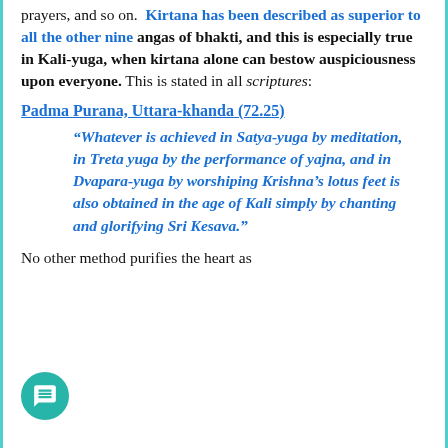prayers, and so on.  Kirtana has been described as superior to all the other nine angas of bhakti, and this is especially true in Kali-yuga, when kirtana alone can bestow auspiciousness upon everyone. This is stated in all scriptures:
Padma Purana, Uttara-khanda (72.25)
“Whatever is achieved in Satya-yuga by meditation, in Treta yuga by the performance of yajna, and in Dvapara-yuga by worshiping Krishna’s lotus feet is also obtained in the age of Kali simply by chanting and glorifying Sri Kesava.”
No other method purifies the heart as